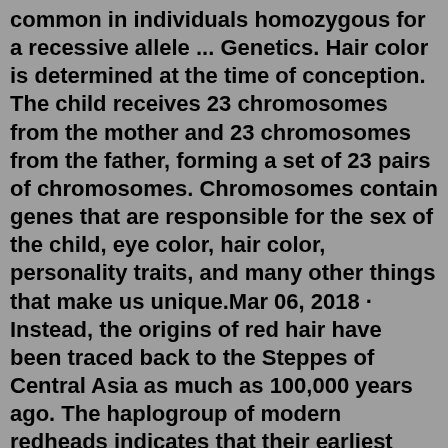common in individuals homozygous for a recessive allele ... Genetics. Hair color is determined at the time of conception. The child receives 23 chromosomes from the mother and 23 chromosomes from the father, forming a set of 23 pairs of chromosomes. Chromosomes contain genes that are responsible for the sex of the child, eye color, hair color, personality traits, and many other things that make us unique.Mar 06, 2018 · Instead, the origins of red hair have been traced back to the Steppes of Central Asia as much as 100,000 years ago. The haplogroup of modern redheads indicates that their earliest ancestors migrated to the steppes from the Middle East because of the rise of herding during the Neolithic revolution. May 10, 2018 · Red Hair Population. It is estimated that approximately 2% of the world's population has naturally red hair. The majority of red haired individuals are of northern and western European ancestry. Western Europe has more red haired people than any other part of the